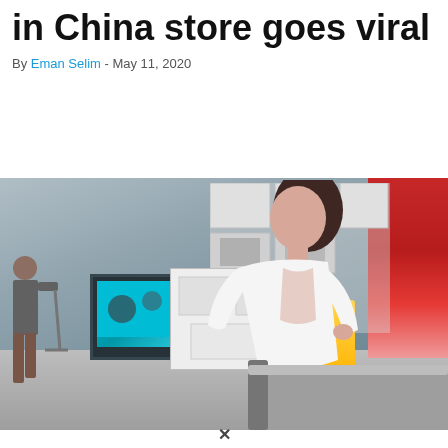in China store goes viral
By Eman Selim - May 11, 2020
[Figure (photo): A woman sitting in what appears to be a furniture or electronics showroom in China. She is wearing a white blouse and is seated in a grey chair. In the background, a person walks by near a monitor displaying a teal/cyan image, and there are various display products and a red lamp/chair on the right side.]
X